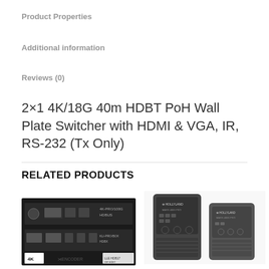Product Properties
Additional information
Reviews (0)
2×1 4K/18G 40m HDBT PoH Wall Plate Switcher with HDMI & VGA, IR, RS-232 (Tx Only)
RELATED PRODUCTS
[Figure (photo): Product image of a 4K encoder device with HDBT connectivity, black hardware with ports and labels]
[Figure (photo): Product image showing two dark grey handheld transmitter/receiver units side by side]